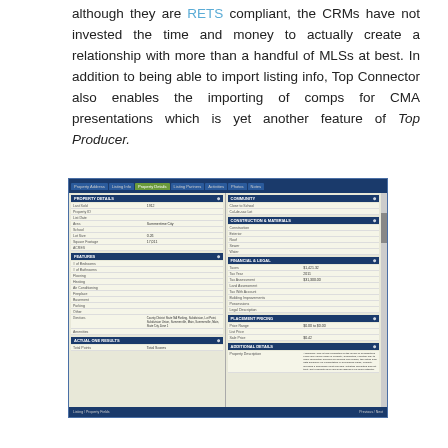although they are RETS compliant, the CRMs have not invested the time and money to actually create a relationship with more than a handful of MLSs at best. In addition to being able to import listing info, Top Connector also enables the importing of comps for CMA presentations which is yet another feature of Top Producer.
[Figure (screenshot): Screenshot of a real estate CRM software interface showing property details form with sections including Property Details, Community, Construction & Materials, Features, Financial & Legal, Placement Pricing, Additional Details, and Actual One Results tabs.]